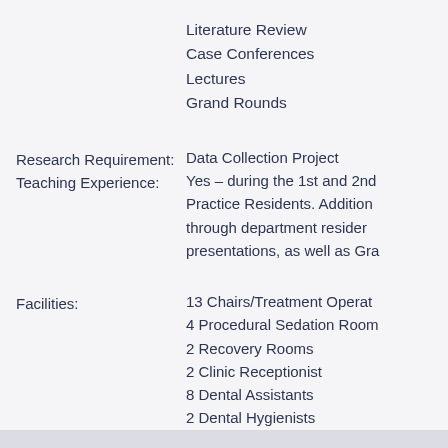Literature Review
Case Conferences
Lectures
Grand Rounds
Research Requirement: Data Collection Project
Teaching Experience: Yes – during the 1st and 2nd Practice Residents. Additionally through department residency presentations, as well as Gra
Facilities: 13 Chairs/Treatment Operato 4 Procedural Sedation Room 2 Recovery Rooms 2 Clinic Receptionist 8 Dental Assistants 2 Dental Hygienists 1 Community Dental Health C